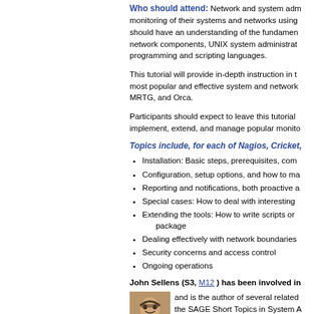Who should attend: Network and system administrators who are responsible for monitoring of their systems and networks using open source tools. Participants should have an understanding of the fundamentals of TCP/IP, basic network components, UNIX system administration, and at least one of the common programming and scripting languages.
This tutorial will provide in-depth instruction in the installation and use of the most popular and effective system and network monitoring tools, including Nagios, MRTG, and Orca.
Participants should expect to leave this tutorial with the skills to deploy, implement, extend, and manage popular monitoring tools in their networks.
Topics include, for each of Nagios, Cricket,
Installation: Basic steps, prerequisites, com
Configuration, setup options, and how to ma
Reporting and notifications, both proactive a
Special cases: How to deal with interesting
Extending the tools: How to write scripts or package
Dealing effectively with network boundaries
Security concerns and access control
Ongoing operations
John Sellens (S3, M12) has been involved in and is the author of several related the SAGE Short Topics in System Administration for Higher Reliability
[Figure (photo): Photo of John Sellens, a man with glasses]